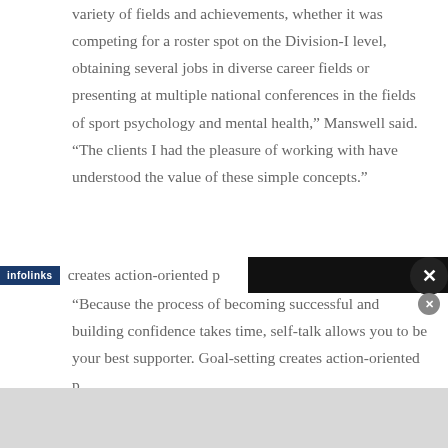variety of fields and achievements, whether it was competing for a roster spot on the Division-I level, obtaining several jobs in diverse career fields or presenting at multiple national conferences in the fields of sport psychology and mental health,” Manswell said. “The clients I had the pleasure of working with have understood the value of these simple concepts.”
“Because the process of becoming successful and building confidence takes time, self-talk allows you to be your best supporter. Goal-setting creates action-oriented p...